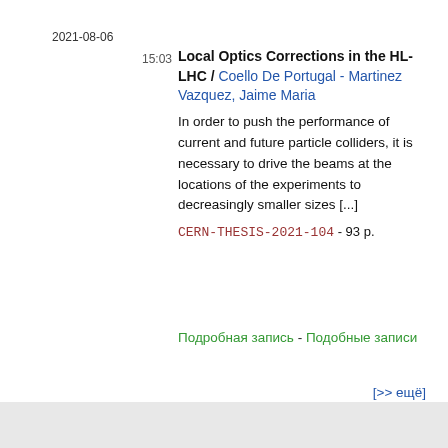2021-08-06
15:03
Local Optics Corrections in the HL-LHC / Coello De Portugal - Martinez Vazquez, Jaime Maria
In order to push the performance of current and future particle colliders, it is necessary to drive the beams at the locations of the experiments to decreasingly smaller sizes [...]
CERN-THESIS-2021-104 - 93 p.
Подробная запись - Подобные записи
[>> ещё]